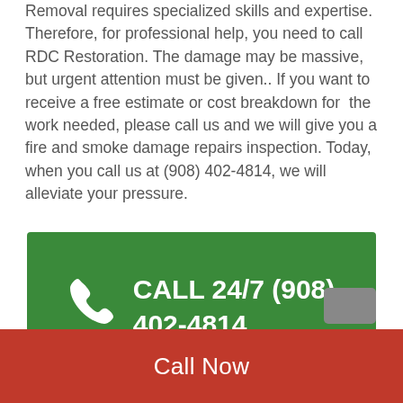Removal requires specialized skills and expertise. Therefore, for professional help, you need to call RDC Restoration. The damage may be massive, but urgent attention must be given.. If you want to receive a free estimate or cost breakdown for the work needed, please call us and we will give you a fire and smoke damage repairs inspection. Today, when you call us at (908) 402-4814, we will alleviate your pressure.
[Figure (infographic): Green banner with phone icon and text: CALL 24/7 (908) 402-4814]
Call Now